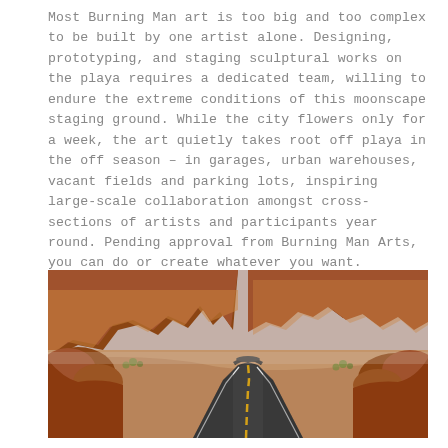Most Burning Man art is too big and too complex to be built by one artist alone. Designing, prototyping, and staging sculptural works on the playa requires a dedicated team, willing to endure the extreme conditions of this moonscape staging ground. While the city flowers only for a week, the art quietly takes root off playa in the off season – in garages, urban warehouses, vacant fields and parking lots, inspiring large-scale collaboration amongst cross-sections of artists and participants year round. Pending approval from Burning Man Arts, you can do or create whatever you want.
[Figure (photo): A winding desert road curving through red rock canyon landscape, flanked by rocky formations and sparse desert vegetation, with a yellow center line visible on the dark asphalt road.]